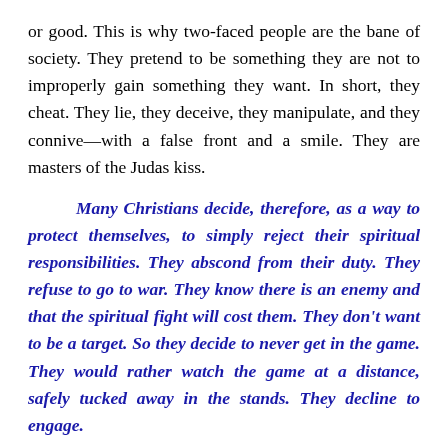or good. This is why two-faced people are the bane of society. They pretend to be something they are not to improperly gain something they want. In short, they cheat. They lie, they deceive, they manipulate, and they connive—with a false front and a smile. They are masters of the Judas kiss.
Many Christians decide, therefore, as a way to protect themselves, to simply reject their spiritual responsibilities. They abscond from their duty. They refuse to go to war. They know there is an enemy and that the spiritual fight will cost them. They don't want to be a target. So they decide to never get in the game. They would rather watch the game at a distance, safely tucked away in the stands. They decline to engage.